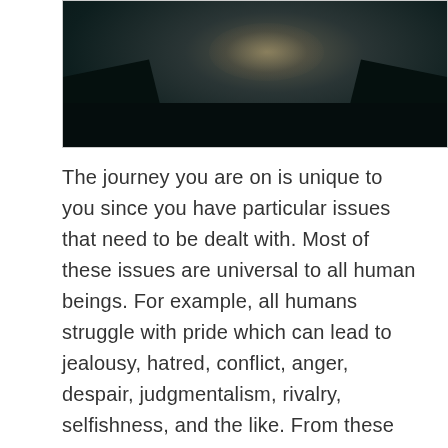[Figure (photo): Dark artistic photo of a shirtless male figure in silhouette with dramatic lighting highlighting the torso, set against a dark teal-black background]
The journey you are on is unique to you since you have particular issues that need to be dealt with. Most of these issues are universal to all human beings. For example, all humans struggle with pride which can lead to jealousy, hatred, conflict, anger, despair, judgmentalism, rivalry, selfishness, and the like. From these kinds of deep-seated passions arise evils that play out differently in each human. However, as you have become more and more aware of the wretchedness living within hindering you from truly knowing God and living as a true child of God, you've